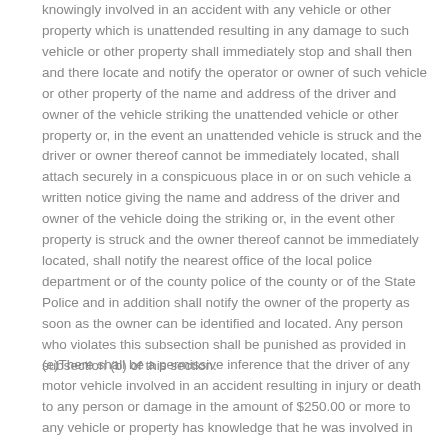knowingly involved in an accident with any vehicle or other property which is unattended resulting in any damage to such vehicle or other property shall immediately stop and shall then and there locate and notify the operator or owner of such vehicle or other property of the name and address of the driver and owner of the vehicle striking the unattended vehicle or other property or, in the event an unattended vehicle is struck and the driver or owner thereof cannot be immediately located, shall attach securely in a conspicuous place in or on such vehicle a written notice giving the name and address of the driver and owner of the vehicle doing the striking or, in the event other property is struck and the owner thereof cannot be immediately located, shall notify the nearest office of the local police department or of the county police of the county or of the State Police and in addition shall notify the owner of the property as soon as the owner can be identified and located. Any person who violates this subsection shall be punished as provided in subsection (b) of this section.
(e)There shall be a permissive inference that the driver of any motor vehicle involved in an accident resulting in injury or death to any person or damage in the amount of $250.00 or more to any vehicle or property has knowledge that he was involved in